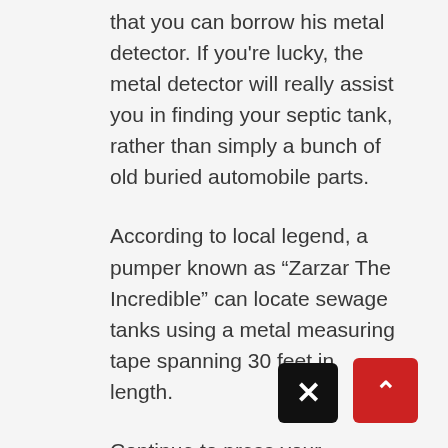that you can borrow his metal detector. If you're lucky, the metal detector will really assist you in finding your septic tank, rather than simply a bunch of old buried automobile parts.
According to local legend, a pumper known as "Zarzar The Incredible" can locate sewage tanks using a metal measuring tape spanning 30 feet in length.
Continue to press your commode ("commode" sounds sophisticated) tape deeper and farther down the pipes until he "feels" the bottom of the tank with his tape.
I recently acquired locate equipment that can be